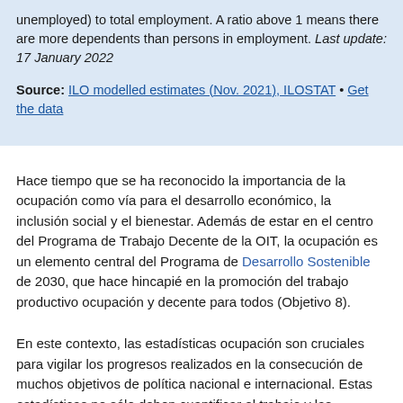unemployed) to total employment. A ratio above 1 means there are more dependents than persons in employment. Last update: 17 January 2022
Source: ILO modelled estimates (Nov. 2021), ILOSTAT • Get the data
Hace tiempo que se ha reconocido la importancia de la ocupación como vía para el desarrollo económico, la inclusión social y el bienestar. Además de estar en el centro del Programa de Trabajo Decente de la OIT, la ocupación es un elemento central del Programa de Desarrollo Sostenible de 2030, que hace hincapié en la promoción del trabajo productivo ocupación y decente para todos (Objetivo 8).
En este contexto, las estadísticas ocupación son cruciales para vigilar los progresos realizados en la consecución de muchos objetivos de política nacional e internacional. Estas estadísticas no sólo deben cuantificar el trabajo y las personas que ocupación participan en él, sino que también deben